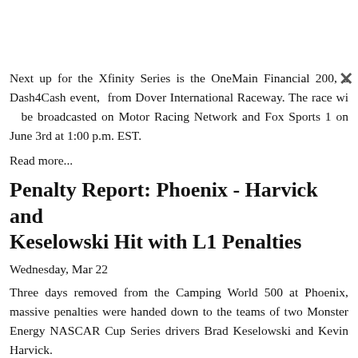Next up for the Xfinity Series is the OneMain Financial 200, a Dash4Cash event, from Dover International Raceway. The race will be broadcasted on Motor Racing Network and Fox Sports 1 on June 3rd at 1:00 p.m. EST.
Read more...
Penalty Report: Phoenix - Harvick and Keselowski Hit with L1 Penalties
Wednesday, Mar 22
Three days removed from the Camping World 500 at Phoenix, massive penalties were handed down to the teams of two Monster Energy NASCAR Cup Series drivers Brad Keselowski and Kevin Harvick.
Keselowski and his No. 2 Alliance Truck Parts Ford team finished fifth in the 314-lap race but that finish will now be encumbered as they failed post-race inspection. Along with crew chief Paul Wolfe